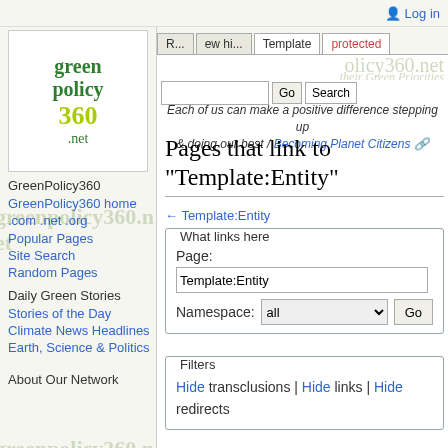Log in
[Figure (logo): GreenPolicy360.net logo with green text]
GreenPolicy360
GreenPolicy360 home .com .net .org
Popular Pages
Site Search
Random Pages
Daily Green Stories
Stories of the Day
Climate News Headlines
Earth, Science & Politics
About Our Network
Each of us can make a positive difference stepping up & doing our best / Becoming Planet Citizens
Pages that link to "Template:Entity"
← Template:Entity
What links here — Page: Template:Entity — Namespace: all — Go
Filters — Hide transclusions | Hide links | Hide redirects